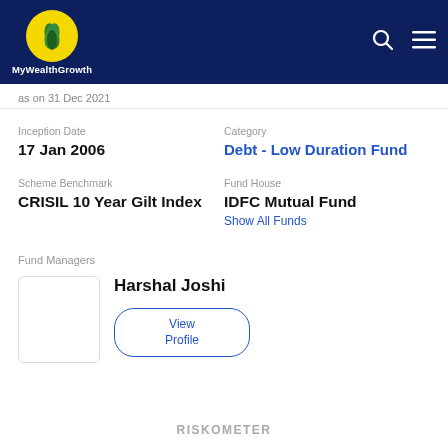MyWealthGrowth
as on 31 Dec 2021
Inception Date
17 Jan 2006
Category
Debt - Low Duration Fund
Scheme Benchmark
CRISIL 10 Year Gilt Index
Fund House
IDFC Mutual Fund
Show All Funds
Fund Managers
Harshal Joshi
View Profile
RISKOMETER